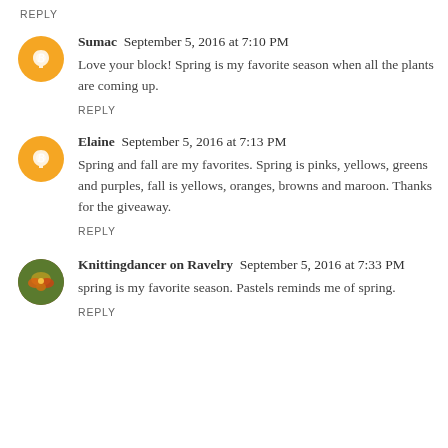REPLY
Sumac  September 5, 2016 at 7:10 PM
Love your block! Spring is my favorite season when all the plants are coming up.
REPLY
Elaine  September 5, 2016 at 7:13 PM
Spring and fall are my favorites. Spring is pinks, yellows, greens and purples, fall is yellows, oranges, browns and maroon. Thanks for the giveaway.
REPLY
Knittingdancer on Ravelry  September 5, 2016 at 7:33 PM
spring is my favorite season. Pastels reminds me of spring.
REPLY